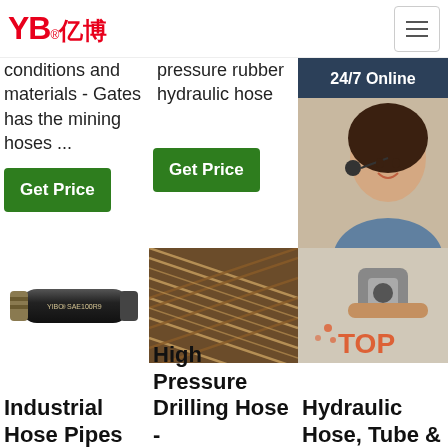[Figure (logo): YB亿博 company logo in red]
conditions and materials - Gates has the mining hoses ...
pressure rubber hydraulic hose
Get Price
Get Price
[Figure (photo): Industrial hose pipe - YIBO SAE100R9 black rubber hose]
[Figure (photo): High pressure drilling hose - braided metallic hose close-up]
[Figure (photo): Hydraulic hose tube with customer service agent overlay, 24/7 Online banner, Click here for free chat, QUOTATION button, TOP watermark]
Industrial Hose Pipes
High Pressure Drilling Hose -
Hydraulic Hose, Tube &